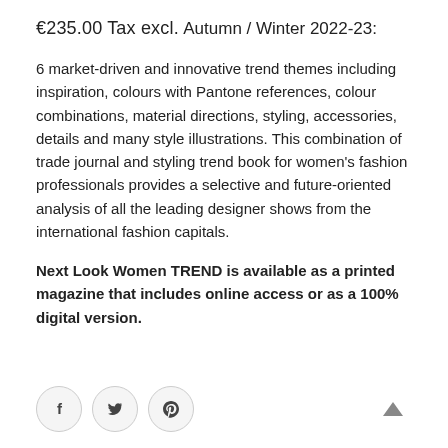€235.00 Tax excl.
Autumn / Winter 2022-23:
6 market-driven and innovative trend themes including inspiration, colours with Pantone references, colour combinations, material directions, styling, accessories, details and many style illustrations. This combination of trade journal and styling trend book for women's fashion professionals provides a selective and future-oriented analysis of all the leading designer shows from the international fashion capitals.
Next Look Women TREND is available as a printed magazine that includes online access or as a 100% digital version.
[Figure (infographic): Social media share icons: Facebook (f), Twitter (bird), Pinterest (p) in circular outlined buttons, and a scroll-to-top arrow on the right]